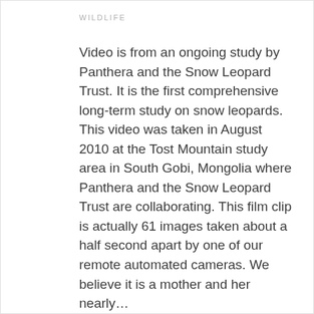WILDLIFE
Video is from an ongoing study by Panthera and the Snow Leopard Trust. It is the first comprehensive long-term study on snow leopards. This video was taken in August 2010 at the Tost Mountain study area in South Gobi, Mongolia where Panthera and the Snow Leopard Trust are collaborating. This film clip is actually 61 images taken about a half second apart by one of our remote automated cameras. We believe it is a mother and her nearly…